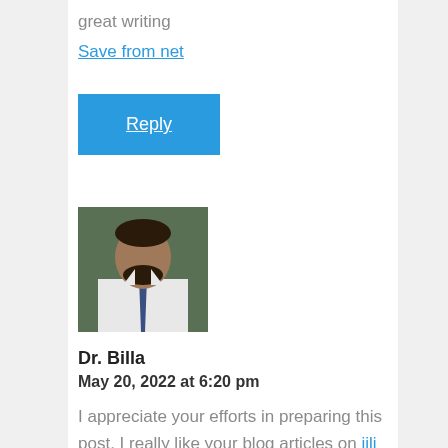great writing
Save from net
Reply
[Figure (photo): Profile photo of a man in a white shirt and tie, seated at a desk, with a green background.]
Dr. Billa
May 20, 2022 at 6:20 pm
I appreciate your efforts in preparing this post. I really like your blog articles on jili slot